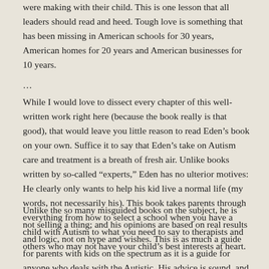were making with their child. This is one lesson that all leaders should read and heed. Tough love is something that has been missing in American schools for 30 years, American homes for 20 years and American businesses for 10 years.
...
While I would love to dissect every chapter of this well-written work right here (because the book really is that good), that would leave you little reason to read Eden’s book on your own. Suffice it to say that Eden’s take on Autism care and treatment is a breath of fresh air. Unlike books written by so-called “experts,” Eden has no ulterior motives: He clearly only wants to help his kid live a normal life (my words, not necessarily his). This book takes parents through everything from how to select a school when you have a child with Autism to what you need to say to therapists and others who may not have your child’s best interests at heart.
Unlike the so many misguided books on the subject, he is not selling a thing; and his opinions are based on real results and logic, not on hype and wishes. This is as much a guide for parents with kids on the spectrum as it is a guide for anyone who deals with the Autistic. His advice is sound, and his dedication to helping his son is clear throughout. I highly